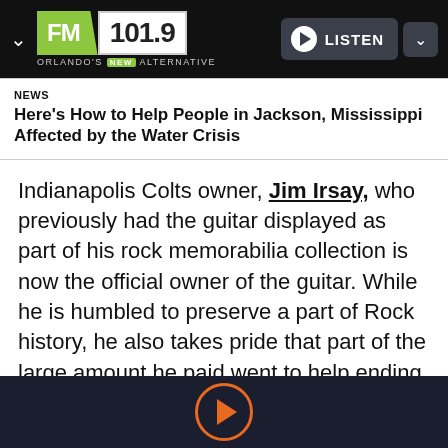[Figure (logo): FM 101.9 Orlando's New Alternative radio station logo with green and white branding]
NEWS
Here's How to Help People in Jackson, Mississippi Affected by the Water Crisis
Indianapolis Colts owner, Jim Irsay, who previously had the guitar displayed as part of his rock memorabilia collection is now the official owner of the guitar. While he is humbled to preserve a part of Rock history, he also takes pride that part of the large amount he paid went to help ending the stigma surrounding mental illness.